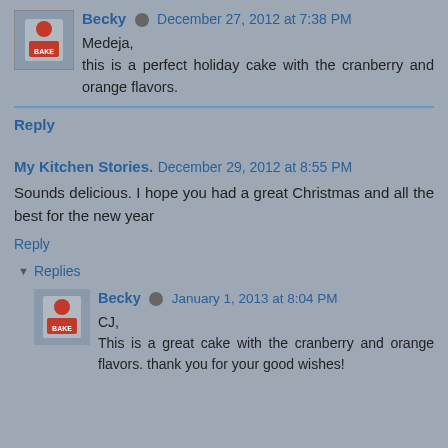Becky · December 27, 2012 at 7:38 PM
Medeja,
this is a perfect holiday cake with the cranberry and orange flavors.
Reply
My Kitchen Stories. December 29, 2012 at 8:55 PM
Sounds delicious. I hope you had a great Christmas and all the best for the new year
Reply
▼ Replies
Becky · January 1, 2013 at 8:04 PM
CJ,
This is a great cake with the cranberry and orange flavors. thank you for your good wishes!